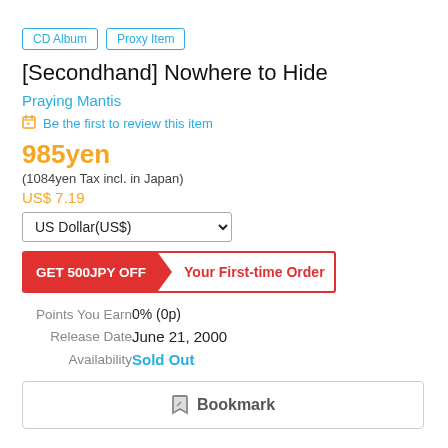CD Album | Proxy Item
[Secondhand] Nowhere to Hide
Praying Mantis
Be the first to review this item
985yen
(1084yen Tax incl. in Japan)
US$ 7.19
US Dollar(US$)
[Figure (infographic): Promotional banner: GET 500JPY OFF > Your First-time Order, red background on left, white on right with red text and red border]
|  |  |
| --- | --- |
| Points You Earn | 0% (0p) |
| Release Date | June 21, 2000 |
| Availability | Sold Out |
Bookmark